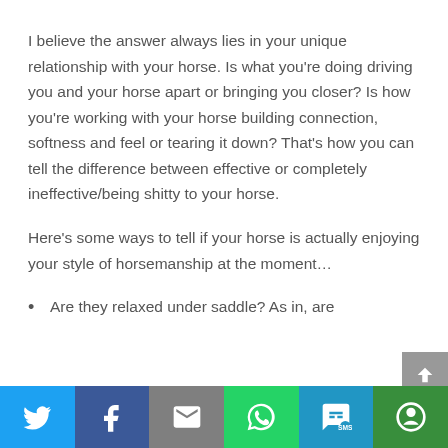I believe the answer always lies in your unique relationship with your horse. Is what you're doing driving you and your horse apart or bringing you closer? Is how you're working with your horse building connection, softness and feel or tearing it down? That's how you can tell the difference between effective or completely ineffective/being shitty to your horse.
Here's some ways to tell if your horse is actually enjoying your style of horsemanship at the moment…
Are they relaxed under saddle? As in, are